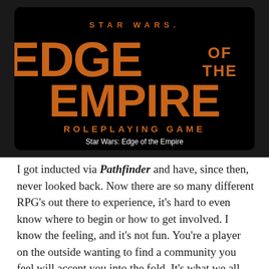[Figure (screenshot): Star Wars: Edge of the Empire Roleplaying Game logo on black background with orange/brown text. Title reads STAR WARS EDGE OF THE EMPIRE ROLEPLAYING GAME. Caption below reads 'Star Wars: Edge of the Empire'.]
Star Wars: Edge of the Empire
I got inducted via Pathfinder and have, since then, never looked back. Now there are so many different RPG's out there to experience, it's hard to even know where to begin or how to get involved. I know the feeling, and it's not fun. You're a player on the outside wanting to find a community you feel will accept you into the fold. It's what we all desire